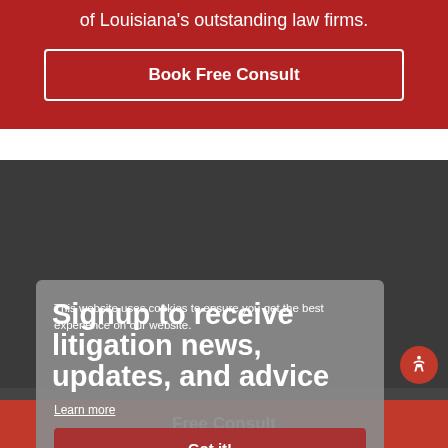of Louisiana's outstanding law firms.
Book Free Consult
Signup to receive litigation news, updates, and advice
This website uses cookies to ensure you get the best experience on our website.
Learn more
Got it!
Free Consult